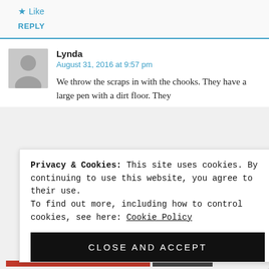★ Like
REPLY
Lynda
August 31, 2016 at 9:57 pm
We throw the scraps in with the chooks. They have a large pen with a dirt floor. They eat what they want, turn it all over and go on
Privacy & Cookies: This site uses cookies. By continuing to use this website, you agree to their use.
To find out more, including how to control cookies, see here: Cookie Policy
CLOSE AND ACCEPT